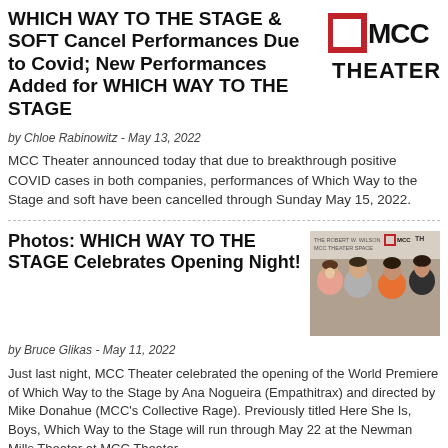WHICH WAY TO THE STAGE & SOFT Cancel Performances Due to Covid; New Performances Added for WHICH WAY TO THE STAGE
[Figure (logo): MCC Theater logo — red square outline with black MCC THEATER text]
by Chloe Rabinowitz - May 13, 2022
MCC Theater announced today that due to breakthrough positive COVID cases in both companies, performances of Which Way to the Stage and soft have been cancelled through Sunday May 15, 2022.
Photos: WHICH WAY TO THE STAGE Celebrates Opening Night!
[Figure (photo): Group photo of four people at the MCC Theater opening night event, standing in front of a MCC Theater backdrop. The people are smiling; one woman in pink, one man in gray, one woman in orange, and one man in black.]
by Bruce Glikas - May 11, 2022
Just last night, MCC Theater celebrated the opening of the World Premiere of Which Way to the Stage by Ana Nogueira (Empathitrax) and directed by Mike Donahue (MCC's Collective Rage). Previously titled Here She Is, Boys, Which Way to the Stage will run through May 22 at the Newman Mills Theater at MCC Theater.